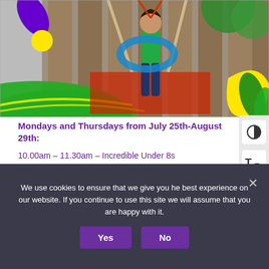[Figure (photo): A child in a green t-shirt on a rope/adventure play structure with colourful green, yellow and purple graphic overlays on a wooden fence background.]
Mondays and Thursdays from July 25th-August 29th:
10.00am – 11.30am – Incredible Under 8s
11.45am – 1.15pm – Incredibly Gentle
1.30pm – 3.00pm – Incredible Summer family play
We use cookies to ensure that we give you he best experience on our website. If you continue to use this site we will assume that you are happy with it.